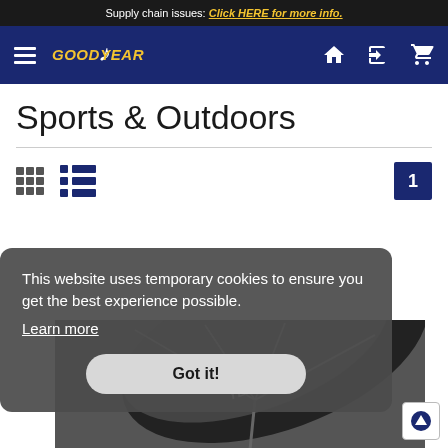Supply chain issues: Click HERE for more info.
[Figure (screenshot): Goodyear website navigation bar with hamburger menu, Goodyear logo, home icon, login icon, and cart icon on dark blue background]
Sports & Outdoors
[Figure (screenshot): View toggle controls showing grid view and list view icons, with page number 1 button on the right]
This website uses temporary cookies to ensure you get the best experience possible. Learn more
[Figure (photo): Goodyear branded umbrella in black and white, photographed from below showing the canopy and GOODYEAR branding]